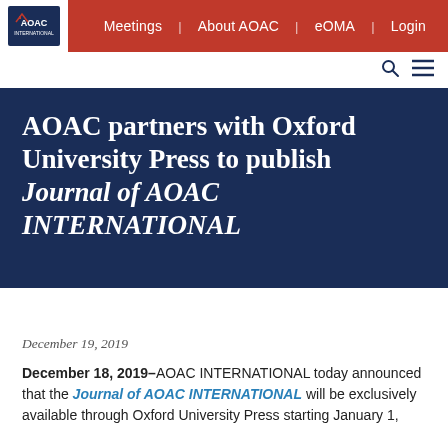Meetings | About AOAC | eOMA | Login
[Figure (logo): AOAC INTERNATIONAL logo]
AOAC partners with Oxford University Press to publish Journal of AOAC INTERNATIONAL
December 19, 2019
December 18, 2019–AOAC INTERNATIONAL today announced that the Journal of AOAC INTERNATIONAL will be exclusively available through Oxford University Press starting January 1,